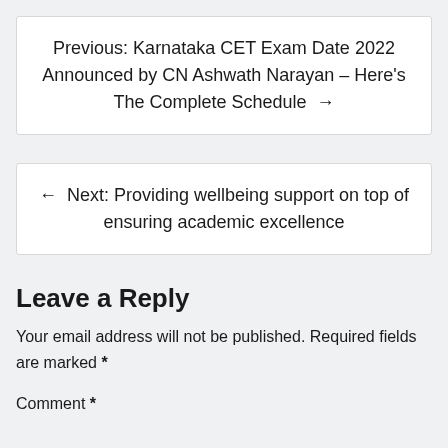Previous: Karnataka CET Exam Date 2022 Announced by CN Ashwath Narayan – Here's The Complete Schedule →
← Next: Providing wellbeing support on top of ensuring academic excellence
Leave a Reply
Your email address will not be published. Required fields are marked *
Comment *